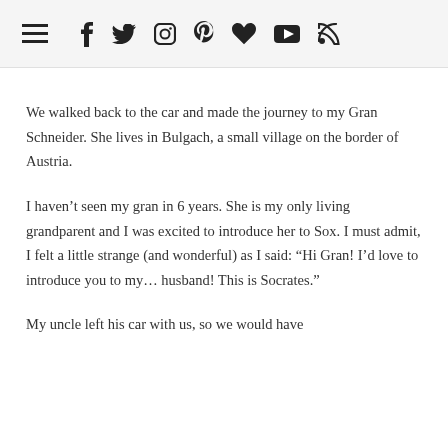☰ f t ⊡ ℗ ♥ ▶ ☍
We walked back to the car and made the journey to my Gran Schneider. She lives in Bulgach, a small village on the border of Austria.
I haven't seen my gran in 6 years. She is my only living grandparent and I was excited to introduce her to Sox. I must admit, I felt a little strange (and wonderful) as I said: “Hi Gran! I’d love to introduce you to my… husband! This is Socrates.”
My uncle left his car with us, so we would have